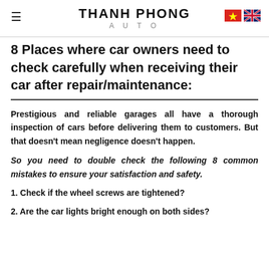THANH PHONG AUTO
8 Places where car owners need to check carefully when receiving their car after repair/maintenance:
Prestigious and reliable garages all have a thorough inspection of cars before delivering them to customers. But that doesn't mean negligence doesn't happen.
So you need to double check the following 8 common mistakes to ensure your satisfaction and safety.
1. Check if the wheel screws are tightened?
2. Are the car lights bright enough on both sides?